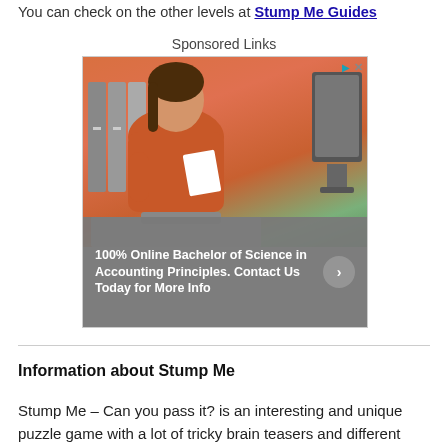You can check on the other levels at Stump Me Guides
Sponsored Links
[Figure (photo): Advertisement showing a woman in an orange top at a desk with binders and a monitor in the background. Ad text reads: 100% Online Bachelor of Science in Accounting Principles. Contact Us Today for More Info]
Information about Stump Me
Stump Me – Can you pass it? is an interesting and unique puzzle game with a lot of tricky brain teasers and different riddles to